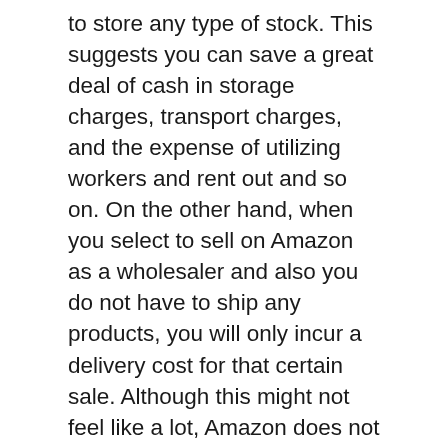to store any type of stock. This suggests you can save a great deal of cash in storage charges, transport charges, and the expense of utilizing workers and rent out and so on. On the other hand, when you select to sell on Amazon as a wholesaler and also you do not have to ship any products, you will only incur a delivery cost for that certain sale. Although this might not feel like a lot, Amazon does not charge a lot of money for their solitary devices.
This leads us to an additional disadvantage of dropshipping. When you dropship, you will never have an actual product in your belongings. This indicates you will certainly be accountable for taking care of the inventory. The dropshipper will certainly look